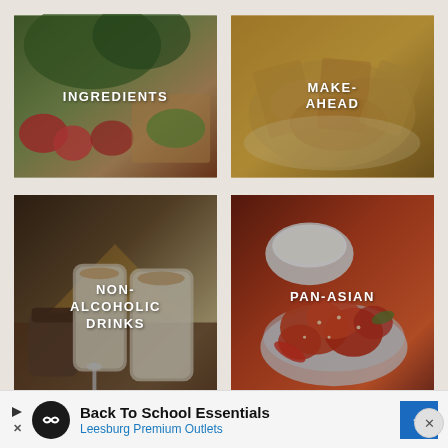[Figure (photo): Food photo showing strawberries and leafy greens salad ingredients on a wooden board]
[Figure (photo): Food photo showing a baked casserole dish with oat crumble topping]
[Figure (photo): Photo of milky non-alcoholic drinks in glasses with spoons on a wooden table]
[Figure (photo): Photo of pan-asian style crispy chicken with sesame seeds in a bowl with rice]
[Figure (photo): Partially visible food photo at bottom left]
[Figure (photo): Partially visible food photo at bottom right]
Back To School Essentials
Leesburg Premium Outlets